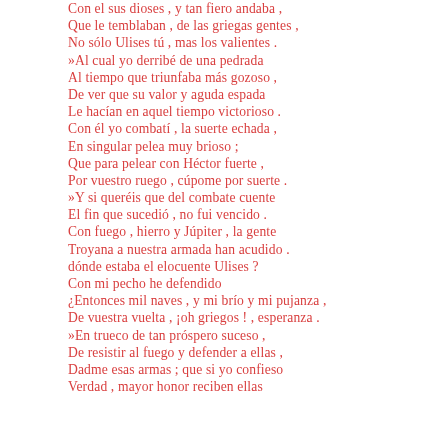Con el sus dioses , y tan fiero andaba ,
Que le temblaban , de las griegas gentes ,
No sólo Ulises tú , mas los valientes .
»Al cual yo derribé de una pedrada
Al tiempo que triunfaba más gozoso ,
De ver que su valor y aguda espada
Le hacían en aquel tiempo victorioso .
Con él yo combatí , la suerte echada ,
En singular pelea muy brioso ;
Que para pelear con Héctor fuerte ,
Por vuestro ruego , cúpome por suerte .
»Y si queréis que del combate cuente
El fin que sucedió , no fui vencido .
Con fuego , hierro y Júpiter , la gente
Troyana a nuestra armada han acudido .
dónde estaba el elocuente Ulises ?
Con mi pecho he defendido
¿Entonces mil naves , y mi brío y mi pujanza ,
De vuestra vuelta , ¡oh griegos ! , esperanza .
»En trueco de tan próspero suceso ,
De resistir al fuego y defender a ellas ,
Dadme esas armas ; que si yo confieso
Verdad , mayor honor reciben ellas